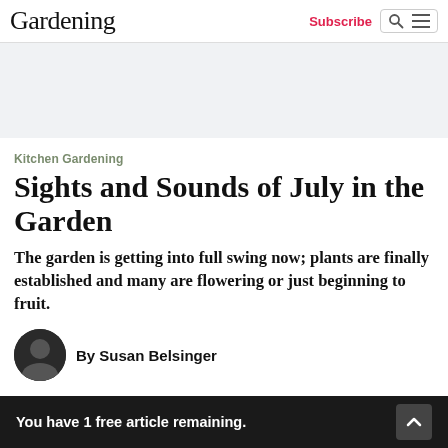Gardening
[Figure (other): Light gray advertisement banner area]
Kitchen Gardening
Sights and Sounds of July in the Garden
The garden is getting into full swing now; plants are finally established and many are flowering or just beginning to fruit.
By Susan Belsinger
You have 1 free article remaining.